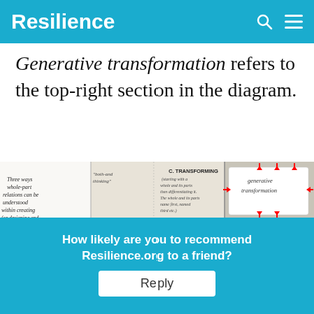Resilience
Generative transformation refers to the top-right section in the diagram.
[Figure (illustration): Handwritten diagram showing three ways whole-part relations can be understood within creating (or designing and implementing) processes. Labels include: Three ways whole-part relations can be understood within creating (or designing and implementing) processes, both-and thinking, either-or thinking, C. TRANSFORMING (starting with a whole and its parts then differentiating it. The whole and its parts name first, named third etc.), B. PARTITIONING (starting with a whole then finding it up. The whole comes first, the parts come second), A. ASSEMBLING (starting with parts then assembling them...), generative transformation (highlighted in top-right with red arrows pointing inward), less arbitrary, WRITING.]
How likely are you to recommend Resilience.org to a friend?
Reply